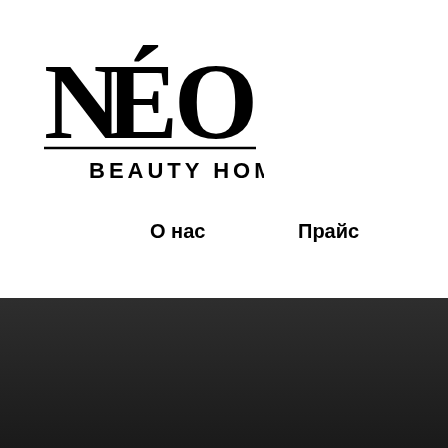[Figure (logo): NEO BEAUTY HOME logo — large serif uppercase letters NEO with accent on E, underline, and BEAUTY HOME subtitle below]
О нас   Прайс
Anabolic steroids famous athletes, anabo…
Anabolic steroids famous athletes, anabolic steroids pictures - Legal s…
[Figure (screenshot): Dark blurred screenshot of a website page with blurred colored navigation elements at the bottom]